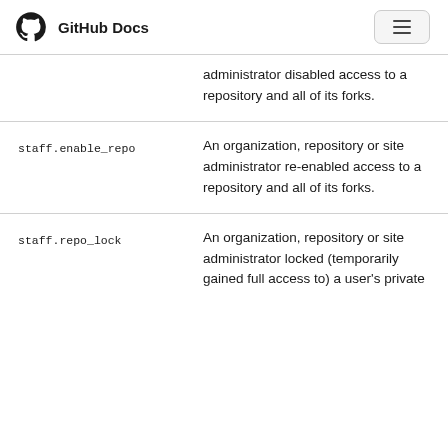GitHub Docs
| Action | Description |
| --- | --- |
| staff.enable_repo | An organization, repository or site administrator re-enabled access to a repository and all of its forks. |
| staff.repo_lock | An organization, repository or site administrator locked (temporarily gained full access to) a user's private |